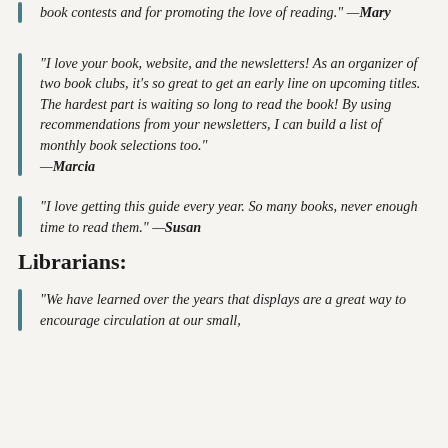“book contests and for promoting the love of reading.” —Mary
“I love your book, website, and the newsletters! As an organizer of two book clubs, it’s so great to get an early line on upcoming titles. The hardest part is waiting so long to read the book! By using recommendations from your newsletters, I can build a list of monthly book selections too.” —Marcia
“I love getting this guide every year. So many books, never enough time to read them.” —Susan
Librarians:
“We have learned over the years that displays are a great way to encourage circulation at our small,